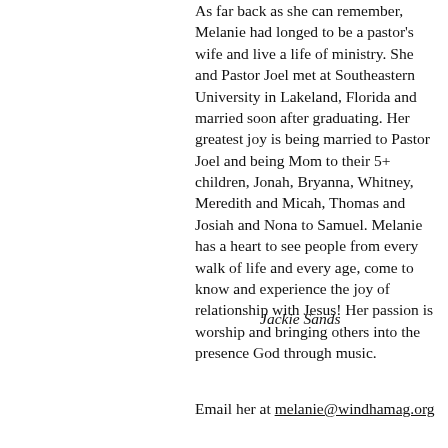As far back as she can remember, Melanie had longed to be a pastor's wife and live a life of ministry. She and Pastor Joel met at Southeastern University in Lakeland, Florida and married soon after graduating. Her greatest joy is being married to Pastor Joel and being Mom to their 5+ children, Jonah, Bryanna, Whitney, Meredith and Micah, Thomas and Josiah and Nona to Samuel. Melanie has a heart to see people from every walk of life and every age, come to know and experience the joy of relationship with Jesus! Her passion is worship and bringing others into the presence God through music.
Jackie Sands
Email her at melanie@windhamag.org